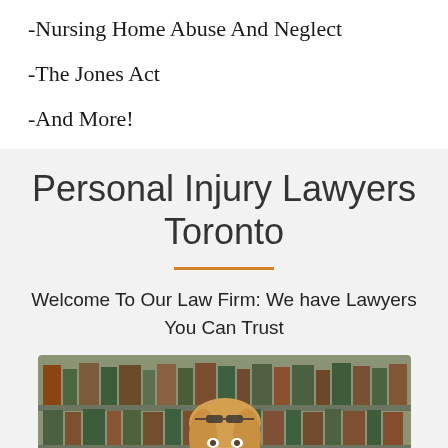-Nursing Home Abuse And Neglect
-The Jones Act
-And More!
Personal Injury Lawyers Toronto
Welcome To Our Law Firm: We have Lawyers You Can Trust
[Figure (photo): A smiling blonde woman with glasses on her head standing in front of a bookshelf with law books]